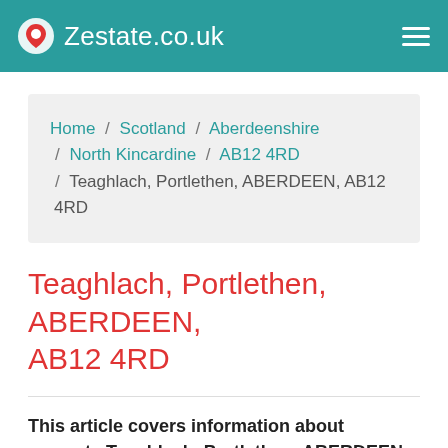Zestate.co.uk
Home / Scotland / Aberdeenshire / North Kincardine / AB12 4RD / Teaghlach, Portlethen, ABERDEEN, AB12 4RD
Teaghlach, Portlethen, ABERDEEN, AB12 4RD
This article covers information about property Teaghlach, Portlethen, ABERDEEN, AB12 4RD. Find valuable data like